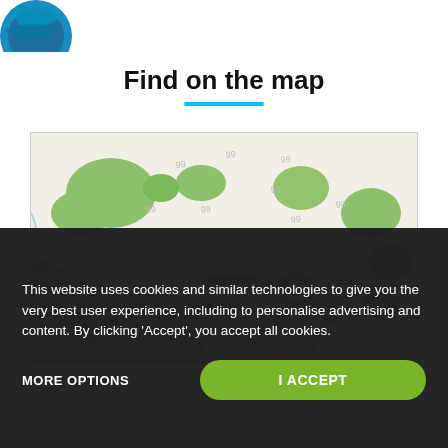[Figure (logo): Partially visible circular logo with blue/teal colors at top-left corner]
Find on the map
[Figure (map): OpenStreetMap showing Martinščica (Luka Martinščica) area on Cres island, Croatia. Green location marker visible near the harbor. Road number 5137 visible. Shows Grad Cres label, Uvala Tiha bay. Surrounding terrain with green forested areas.]
This website uses cookies and similar technologies to give you the very best user experience, including to personalise advertising and content. By clicking 'Accept', you accept all cookies.
MORE OPTIONS
I ACCEPT